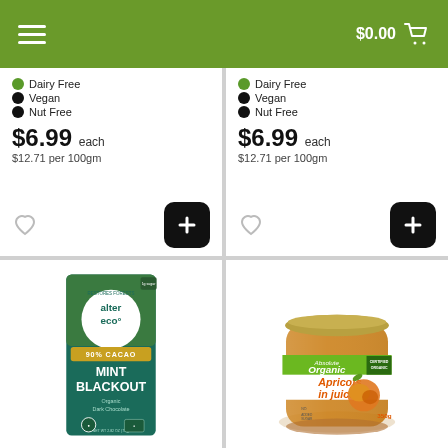$0.00
Dairy Free
Vegan
Nut Free
$6.99 each
$12.71 per 100gm
Dairy Free
Vegan
Nut Free
$6.99 each
$12.71 per 100gm
[Figure (photo): Alter Eco Mint Blackout 90% Cacao Organic Dark Chocolate bar packaging]
[Figure (photo): Absolute Organic Apricots in Juice jar - Certified Organic]